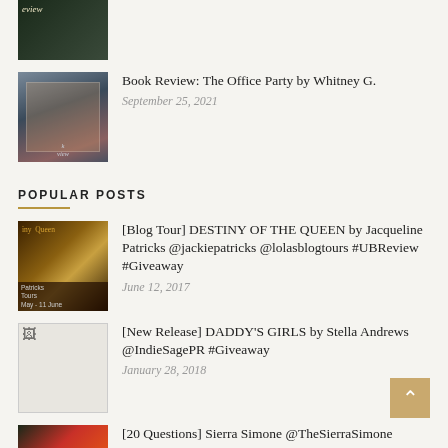[Figure (photo): Partial book review image at top of page, cropped]
Book Review: The Office Party by Whitney G.
September 25, 2021
POPULAR POSTS
[Figure (photo): Blog Tour DESTINY OF THE QUEEN by Jacqueline Patricks book cover thumbnail with gold and dark brown tones]
[Blog Tour] DESTINY OF THE QUEEN by Jacqueline Patricks @jackiepatricks @lolasblogtours #UBReview #Giveaway
June 12, 2017
[Figure (photo): Broken image placeholder thumbnail]
[New Release] DADDY'S GIRLS by Stella Andrews @IndieSagePR #Giveaway
January 28, 2018
[Figure (photo): Sierra Simone 20 Questions book cover thumbnail]
[20 Questions] Sierra Simone @TheSierraSimone
November 24, 2017
[Figure (photo): Lost Boy by Ker Dukey book cover thumbnail, black and white]
Book Review: Lost Boy by Ker Dukey